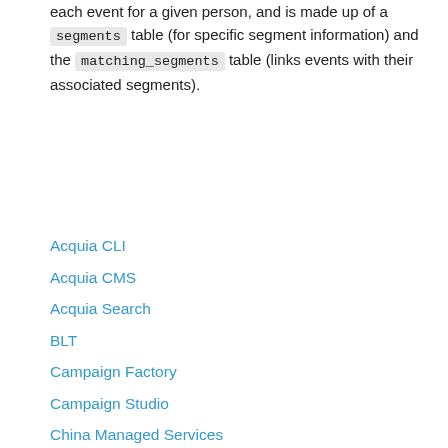each event for a given person, and is made up of a segments table (for specific segment information) and the matching_segments table (links events with their associated segments).
Acquia CLI
Acquia CMS
Acquia Search
BLT
Campaign Factory
Campaign Studio
China Managed Services
Cloud IDE
Cloud Platform
Code Studio
Commerce Manager
Content Hub
Customer Data Platform